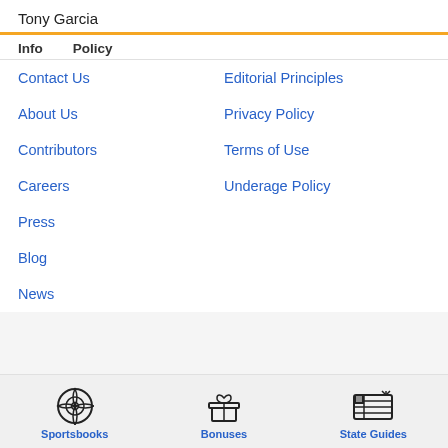Tony Garcia
Info
Policy
Contact Us
Editorial Principles
About Us
Privacy Policy
Contributors
Terms of Use
Careers
Underage Policy
Press
Blog
News
Sportsbooks  Bonuses  State Guides